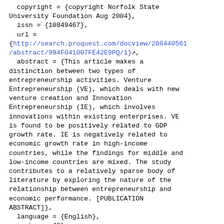copyright = {copyright Norfolk State University Foundation Aug 2004}, issn = {10849467}, url = {http://search.proquest.com/docview/208440561/abstract/994F041007FE42E9PQ/1}, abstract = {This article makes a distinction between two types of entrepreneurship activities. Venture Entrepreneurship (VE), which deals with new venture creation and Innovation Entrepreneurship (IE), which involves innovations within existing enterprises. VE is found to be positively related to GDP growth rate. IE is negatively related to economic growth rate in high-income countries, while the findings for middle and low-income countries are mixed. The study contributes to a relatively sparse body of literature by exploring the nature of the relationship between entrepreneurship and economic performance. [PUBLICATION ABSTRACT]}, language = {English}, number = {2},